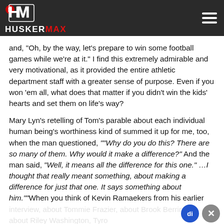HUSKERMAX
and, "Oh, by the way, let's prepare to win some football games while we're at it." I find this extremely admirable and very motivational, as it provided the entire athletic department staff with a greater sense of purpose. Even if you won 'em all, what does that matter if you didn't win the kids' hearts and set them on life's way?
Mary Lyn's retelling of Tom's parable about each individual human being's worthiness kind of summed it up for me, too, when the man questioned, ""Why do you do this? There are so many of them. Why would it make a difference?" And the man said, "Well, it means all the difference for this one." ...I thought that really meant something, about making a difference for just that one. It says something about him.""When you think of Kevin Ramaekers from his earlier interview, about Tommie Frazier, about Brook Berringer, about Riley Washington, Tyro